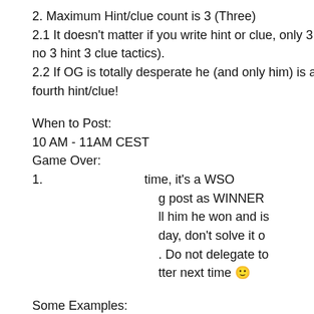2. Maximum Hint/clue count is 3 (Three)
2.1 It doesn't matter if you write hint or clue, only 3 are allowed (so no 3 hint 3 clue tactics).
2.2 If OG is totally desperate he (and only him) is alowed to p... fourth hint/clue!
When to Post:
10 AM - 11AM CEST
Game Over:
1. If ... time, it's a WSO
...g post as WINNER ... ll him he won and is
...day, don't solve it o
. Do not delegate to
...tter next time 😊
Some Examples:
Cookie banner: Like every other website we use cookies. By using our site you acknowledge that you have read and understand our Cookie Policy, Privacy Policy, and our Terms of Service. Learn more. [Ask me later] [Decline] [Allow cookies]